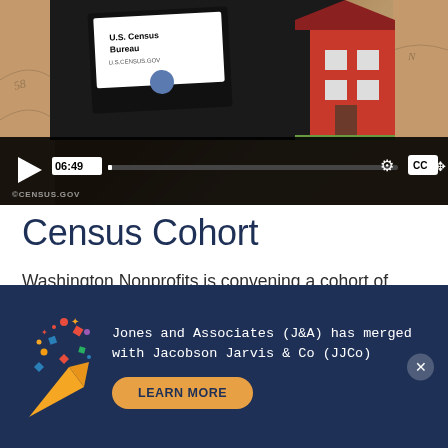[Figure (screenshot): Video thumbnail showing a person holding a U.S. Census Bureau bag in front of a house, with video player controls showing timestamp 06:49, progress bar, CC button, gear icon, and fullscreen icon. Copyright text reads ©CENSUS.GOV]
Census Cohort
Washington Nonprofits is convening a cohort of nonprofit organizations who are doing Census work via a list server and occasional video
Jones and Associates (J&A) has merged with Jacobson Jarvis & Co (JJCo) LEARN MORE